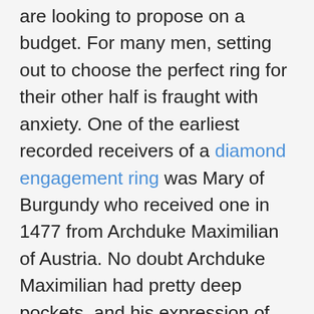are looking to propose on a budget. For many men, setting out to choose the perfect ring for their other half is fraught with anxiety. One of the earliest recorded receivers of a diamond engagement ring was Mary of Burgundy who received one in 1477 from Archduke Maximilian of Austria. No doubt Archduke Maximilian had pretty deep pockets, and his expression of love cemented a trend which slowly filtered its way through society. Today, proposals are synonymous with the giving of a diamond ring although increasingly other stones are being picked such as emeralds, sapphires and rubies. According to a 2019 survey, grooms-to-be in the UK spend on average £2,419 on a ring, which suggests a lot of people are still buying diamond rings. So how do you pick the perfect ring for your other half and not break the bank? There are